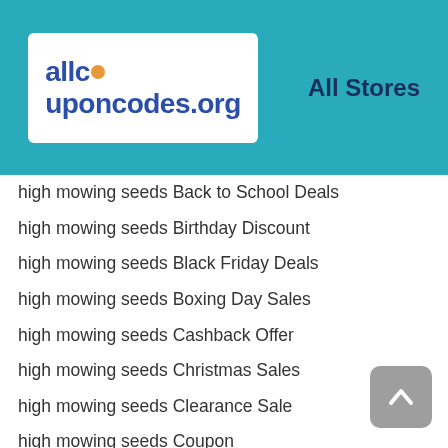[Figure (logo): allcouponcodes.org logo in a white rounded box on a teal header background]
All Stores
high mowing seeds Back to School Deals
high mowing seeds Birthday Discount
high mowing seeds Black Friday Deals
high mowing seeds Boxing Day Sales
high mowing seeds Cashback Offer
high mowing seeds Christmas Sales
high mowing seeds Clearance Sale
high mowing seeds Coupon
high mowing seeds Coupon Code
high mowing seeds Cyber Monday Deals
high mowing seeds Daily Deals
high mowing seeds Discount Code
high mowing seeds Discount Coupon
high mowing seeds Easter Deals